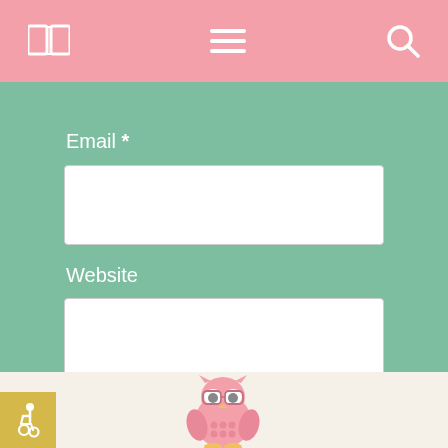[Figure (screenshot): Pink navigation bar with book icon, hamburger menu icon, and search icon on white icons over pink background]
Email *
[Figure (screenshot): White input box for Email field]
Website
[Figure (screenshot): White input box for Website field]
Post Comment
[Figure (illustration): Pink cartoon owl with glasses at bottom center of page]
[Figure (infographic): Yellow accessibility wheelchair icon badge in bottom left corner]